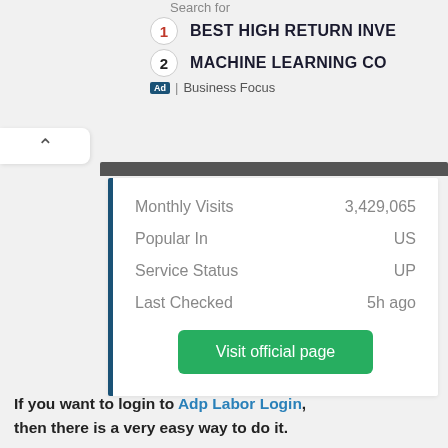Search for
1  BEST HIGH RETURN INVE...
2  MACHINE LEARNING CO...
Ad | Business Focus
|  |  |
| --- | --- |
| Monthly Visits | 3,429,065 |
| Popular In | US |
| Service Status | UP |
| Last Checked | 5h ago |
Visit official page
If you want to login to Adp Labor Login, then there is a very easy way to do it.